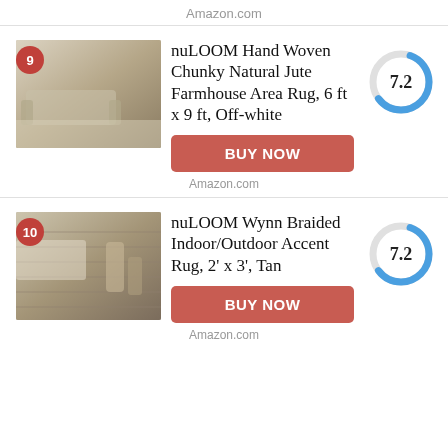Amazon.com
[Figure (photo): Product listing card for nuLOOM Hand Woven Chunky Natural Jute Farmhouse Area Rug with score 7.2]
nuLOOM Hand Woven Chunky Natural Jute Farmhouse Area Rug, 6 ft x 9 ft, Off-white
BUY NOW
Amazon.com
[Figure (photo): Product listing card for nuLOOM Wynn Braided Indoor/Outdoor Accent Rug with score 7.2]
nuLOOM Wynn Braided Indoor/Outdoor Accent Rug, 2' x 3', Tan
BUY NOW
Amazon.com